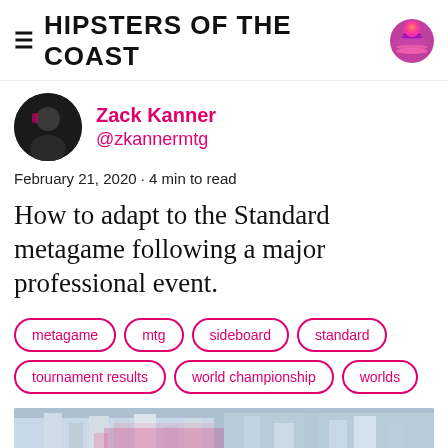HIPSTERS OF THE COAST
Zack Kanner
@zkannermtg
February 21, 2020 · 4 min to read
How to adapt to the Standard metagame following a major professional event.
metagame
mtg
sideboard
standard
tournament results
world championship
worlds
[Figure (photo): Bottom portion of a photo showing a city skyline with colorful artwork and buildings]